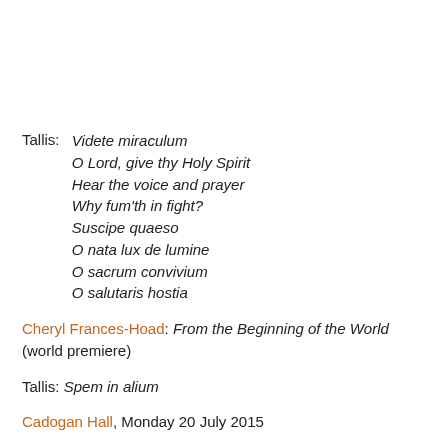Tallis: Videte miraculum / O Lord, give thy Holy Spirit / Hear the voice and prayer / Why fum'th in fight? / Suscipe quaeso / O nata lux de lumine / O sacrum convivium / O salutaris hostia
Cheryl Frances-Hoad: From the Beginning of the World (world premiere)
Tallis: Spem in alium
Cadogan Hall, Monday 20 July 2015